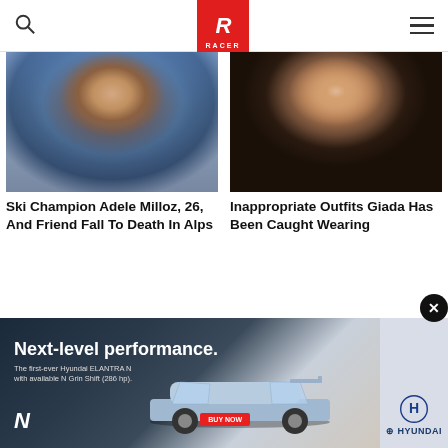RACER
[Figure (photo): Close-up photo of a woman wearing a blue ski helmet and face balaclava outdoors in snowy conditions]
Ski Champion Adele Milloz, 26, And Friend Fall To Death In Alps
[Figure (photo): Close-up portrait photo of a woman with brown hair and green eyes, wearing large hoop earrings]
Inappropriate Outfits Giada Has Been Caught Wearing
Powered by ZergNet
[Figure (photo): Hyundai Elantra N advertisement showing a blue car on a road with text: Next-level performance. The first-ever Hyundai ELANTRA N with available N Grin Shift (286 hp). Hyundai logo and N logo visible.]